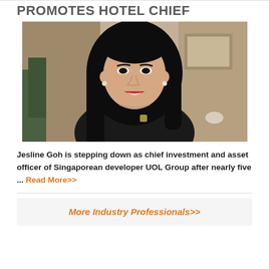PROMOTES HOTEL CHIEF
[Figure (photo): Portrait photo of Jesline Goh, a woman with long black hair, red lipstick, wearing a dark blazer with a brooch, smiling, in what appears to be a hotel or office setting]
Jesline Goh is stepping down as chief investment and asset officer of Singaporean developer UOL Group after nearly five ... Read More>>
More Industry Professionals>>